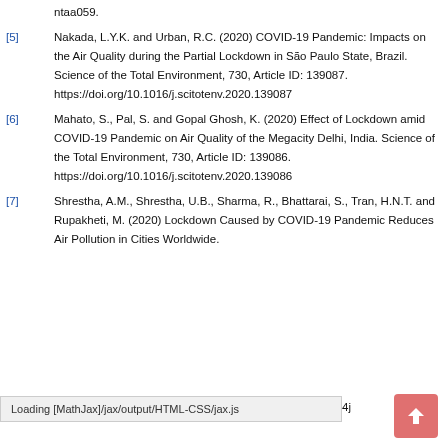ntaa059.
[5] Nakada, L.Y.K. and Urban, R.C. (2020) COVID-19 Pandemic: Impacts on the Air Quality during the Partial Lockdown in São Paulo State, Brazil. Science of the Total Environment, 730, Article ID: 139087. https://doi.org/10.1016/j.scitotenv.2020.139087
[6] Mahato, S., Pal, S. and Gopal Ghosh, K. (2020) Effect of Lockdown amid COVID-19 Pandemic on Air Quality of the Megacity Delhi, India. Science of the Total Environment, 730, Article ID: 139086. https://doi.org/10.1016/j.scitotenv.2020.139086
[7] Shrestha, A.M., Shrestha, U.B., Sharma, R., Bhattarai, S., Tran, H.N.T. and Rupakheti, M. (2020) Lockdown Caused by COVID-19 Pandemic Reduces Air Pollution in Cities Worldwide.
Loading [MathJax]/jax/output/HTML-CSS/jax.js edt4j